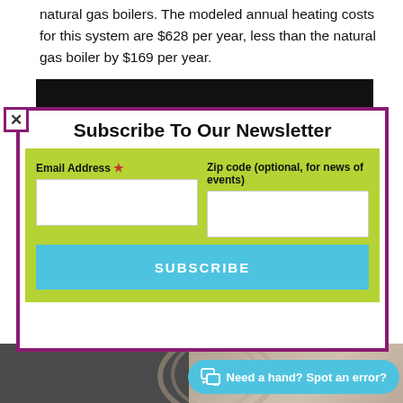natural gas boilers. The modeled annual heating costs for this system are $628 per year, less than the natural gas boiler by $169 per year.
[Figure (screenshot): Dark black banner/image bar]
[Figure (screenshot): Newsletter subscription modal overlay with purple border, containing title 'Subscribe To Our Newsletter', a green form area with Email Address and Zip code fields, and a light blue SUBSCRIBE button. A close X button on the left edge.]
Subscribe To Our Newsletter
Email Address *
Zip code (optional, for news of events)
SUBSCRIBE
[Figure (photo): Partial photo of mechanical/plumbing equipment at bottom of page]
Need a hand? Spot an error?